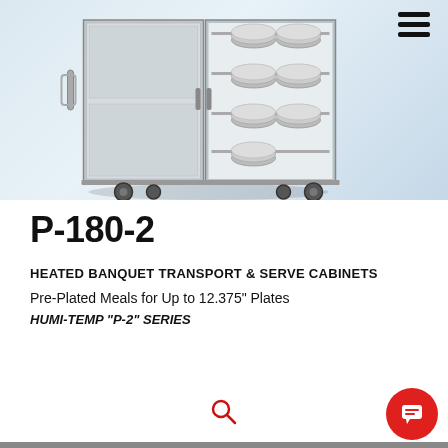[Figure (photo): Stainless steel heated banquet transport and serve cabinet on wheels, with one door open showing shelves with round covered plates/dishes. Product model P-180-2.]
P-180-2
HEATED BANQUET TRANSPORT & SERVE CABINETS
Pre-Plated Meals for Up to 12.375" Plates
HUMI-TEMP "P-2" SERIES